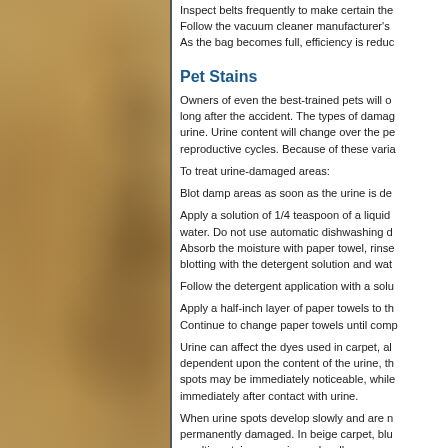[Figure (photo): Tan/beige mottled stone or tile texture filling the left column of the page]
Inspect belts frequently to make certain the Follow the vacuum cleaner manufacturer's As the bag becomes full, efficiency is reduc
Pet Stains
Owners of even the best-trained pets will o long after the accident. The types of damag urine. Urine content will change over the pe reproductive cycles. Because of these varia
To treat urine-damaged areas:
Blot damp areas as soon as the urine is de
Apply a solution of 1/4 teaspoon of a liquid water. Do not use automatic dishwashing d Absorb the moisture with paper towel, rinse blotting with the detergent solution and wat
Follow the detergent application with a solu
Apply a half-inch layer of paper towels to th Continue to change paper towels until comp
Urine can affect the dyes used in carpet, al dependent upon the content of the urine, th spots may be immediately noticeable, while immediately after contact with urine.
When urine spots develop slowly and are n permanently damaged. In beige carpet, blu resulting stain appearing red, yellow, or ora
Pet urine, left unattended, can damage car separation or delamination of the backing m